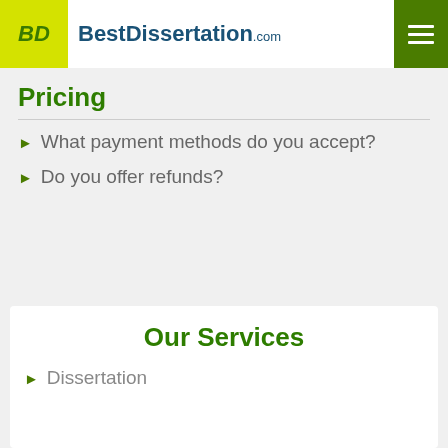BestDissertation.com
Why are large orders on a short deadline disabled?
Pricing
What payment methods do you accept?
Do you offer refunds?
Our Services
Dissertation